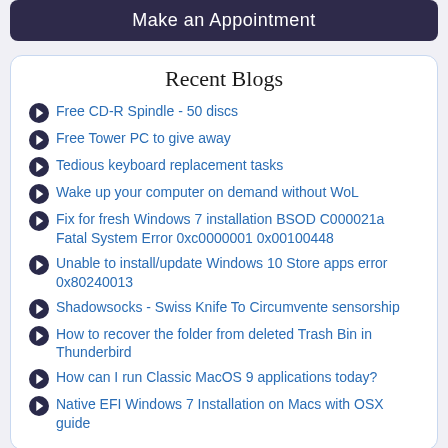Make an Appointment
Recent Blogs
Free CD-R Spindle - 50 discs
Free Tower PC to give away
Tedious keyboard replacement tasks
Wake up your computer on demand without WoL
Fix for fresh Windows 7 installation BSOD C000021a Fatal System Error 0xc0000001 0x00100448
Unable to install/update Windows 10 Store apps error 0x80240013
Shadowsocks - Swiss Knife To Circumvente sensorship
How to recover the folder from deleted Trash Bin in Thunderbird
How can I run Classic MacOS 9 applications today?
Native EFI Windows 7 Installation on Macs with OSX guide